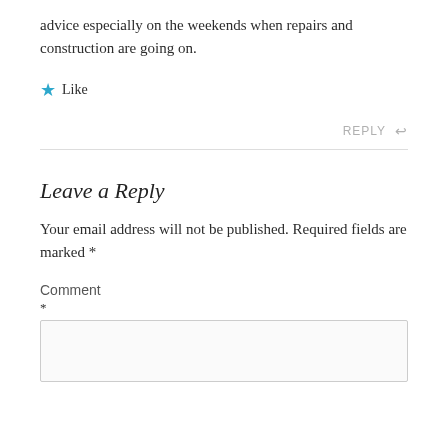advice especially on the weekends when repairs and construction are going on.
★ Like
REPLY ↩
Leave a Reply
Your email address will not be published. Required fields are marked *
Comment
*